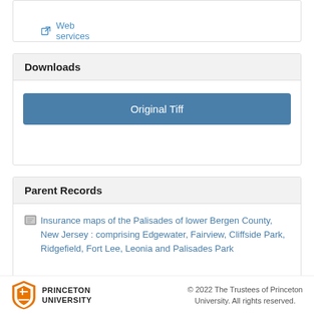Web services
Downloads
Original Tiff
Parent Records
Insurance maps of the Palisades of lower Bergen County, New Jersey : comprising Edgewater, Fairview, Cliffside Park, Ridgefield, Fort Lee, Leonia and Palisades Park
PRINCETON UNIVERSITY © 2022 The Trustees of Princeton University. All rights reserved.